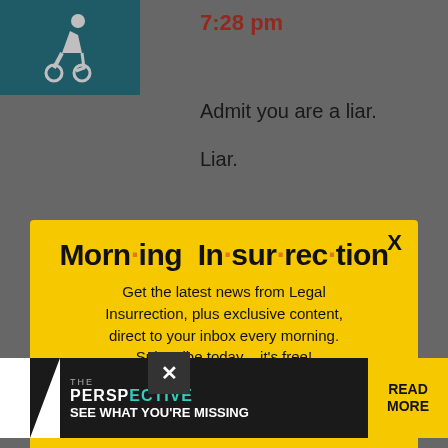[Figure (screenshot): Screenshot of a web page showing a chat interface with teal accessibility icon, time stamp 7:28 pm in red, text messages 'Admit you are a liar.' and 'Liar.' A yellow modal popup overlays the page with the title 'Morning Insurrection' and a JOIN NOW button. A small ad banner from PERSPECTIVE is at the bottom.]
7:28 pm
Admit you are a liar.
Liar.
Morn·ing In·sur·rec·tion
Get the latest news from Legal Insurrection, plus exclusive content, direct to your inbox every morning. Subscribe today – it's free!
JOIN NOW
you cut him into p...s and leave him alive.
THE PERSPECTIVE SEE WHAT YOU'RE MISSING READ MORE